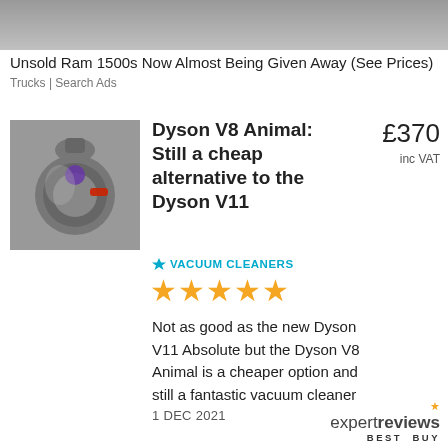[Figure (photo): Advertisement banner image at top of page (partially visible vehicle/truck image)]
Unsold Ram 1500s Now Almost Being Given Away (See Prices)
Trucks | Search Ads
[Figure (photo): Dyson V8 Animal vacuum cleaner product photo showing the motor/head unit in silver with purple and red accents]
Dyson V8 Animal: Still a cheap alternative to the Dyson V11
£370 inc VAT
VACUUM CLEANERS
★★★★★
Not as good as the new Dyson V11 Absolute but the Dyson V8 Animal is a cheaper option and still a fantastic vacuum cleaner
1 DEC 2021
[Figure (logo): Expert Reviews Best Buy logo with orange star]